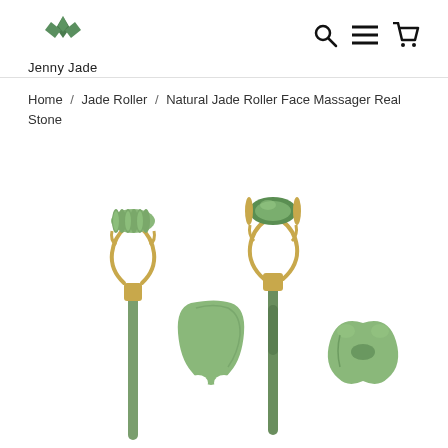[Figure (logo): Jenny Jade logo with green leaf/diamond icon above the text 'Jenny Jade']
[Figure (infographic): Navigation icons: search (magnifying glass), menu (hamburger/equals), and cart (shopping bag/cart)]
Home / Jade Roller / Natural Jade Roller Face Massager Real Stone
[Figure (photo): Product photo showing four jade beauty tools on white background: a spiked roller with gold handle, a smooth oval jade roller with gold handle, a gua sha flat scraping tool, and a smaller butterfly-shaped gua sha tool. All items are jade green in color.]